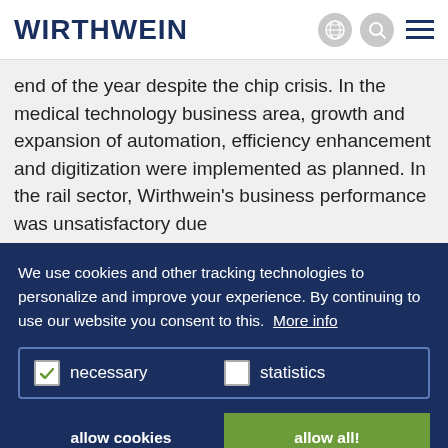WIRTHWEIN
end of the year despite the chip crisis. In the medical technology business area, growth and expansion of automation, efficiency enhancement and digitization were implemented as planned. In the rail sector, Wirthwein's business performance was unsatisfactory due
We use cookies and other tracking technologies to personalize and improve your experience. By continuing to use our website you consent to this. More info
necessary   statistics
allow cookies   allow all!
standing business partnerships, the Wirthwein Group has